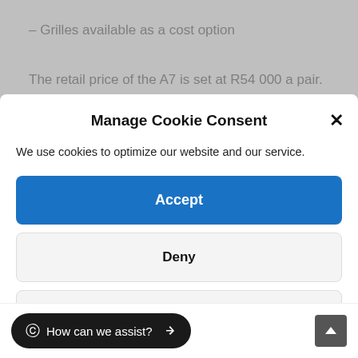– Grilles available as a cost option
The retail price of the A7 is set at R54 000 a pair.
Manage Cookie Consent
We use cookies to optimize our website and our service.
Accept
Deny
Preferences
Cookie Policy  Privacy Policy
How can we assist?